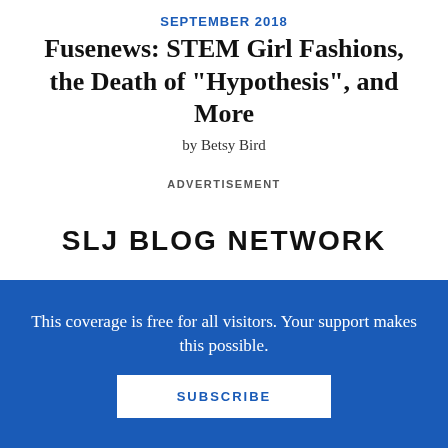SEPTEMBER 2018
Fusenews: STEM Girl Fashions, the Death of "Hypothesis", and More
by Betsy Bird
ADVERTISEMENT
SLJ BLOG NETWORK
100 SCOPE NOTES
School Librarian Saturday: 2022 Notable
This coverage is free for all visitors. Your support makes this possible.
SUBSCRIBE